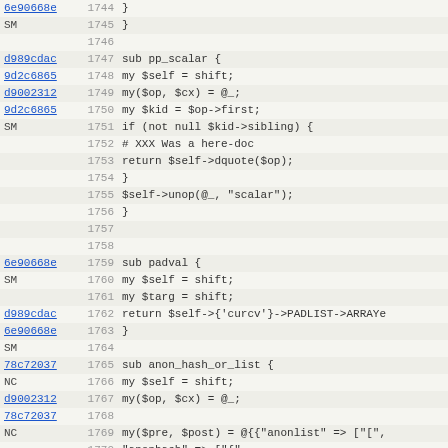[Figure (screenshot): Source code diff/blame view showing Perl code lines 1744-1775 with commit hashes, line numbers, and code content including subroutines pp_scalar, padval, and anon_hash_or_list]